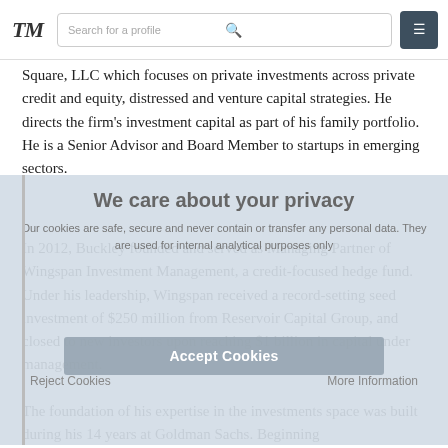TM | Search for a profile
Square, LLC which focuses on private investments across private credit and equity, distressed and venture capital strategies. He directs the firm's investment capital as part of his family portfolio. He is a Senior Advisor and Board Member to startups in emerging sectors.
We care about your privacy
Our cookies are safe, secure and never contain or transfer any personal data. They are used for internal analytical purposes only
In 2012, Buckley founded and served as Managing Partner of Wingspan Investment Management, a credit-focused hedge fund. Under his leadership, Wingspan received a record-setting seed investment of $250 million from Reservoir Capital Group, and closed to new investors upon reaching $1 billion in capital under management.
Accept Cookies
Reject Cookies                    More Information
The foundation of his expertise in the investments space was built during his 14 years at Goldman Sachs. Beginning